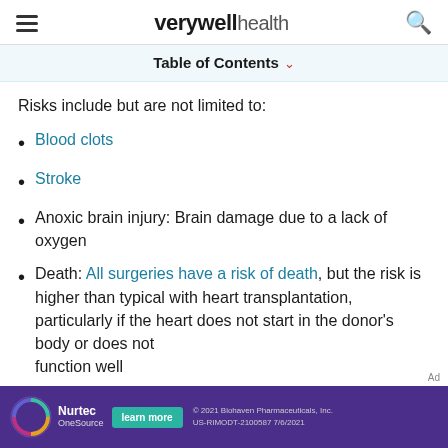verywell health
Table of Contents
Risks include but are not limited to:
Blood clots
Stroke
Anoxic brain injury: Brain damage due to a lack of oxygen
Death: All surgeries have a risk of death, but the risk is higher than typical with heart transplantation, particularly if the heart does not start in the donor's body or does not function well
[Figure (advertisement): Nurtec OneSource advertisement banner with teal learn more button and copyright text for Biohaven Pharmaceuticals]